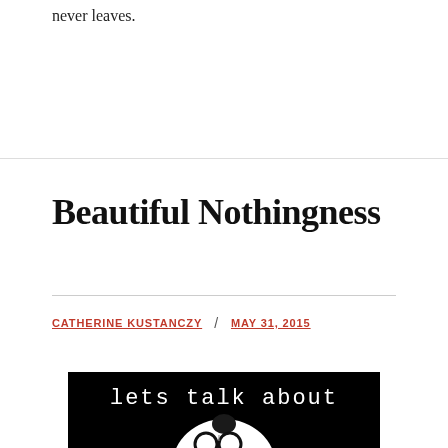never leaves.
Beautiful Nothingness
CATHERINE KUSTANCZY / MAY 31, 2015
[Figure (photo): Black and white high-contrast photo of a person with glasses and hair up, with text 'let s talk about' overlaid at the top]